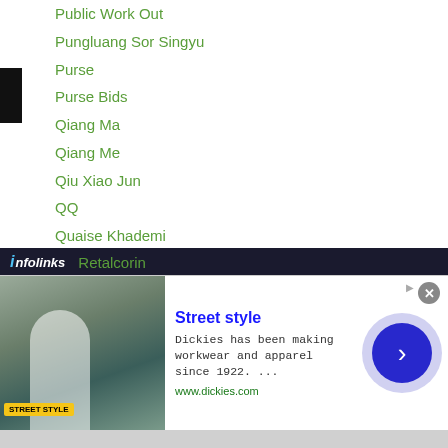Public Work Out
Pungluang Sor Singyu
Purse
Purse Bids
Qiang Ma
Qiang Me
Qiu Xiao Jun
QQ
Quaise Khademi
Quaye Peter
Qudratillo Abduqaxorov
Rafael-concepcion
Rakesh Lohchab
Rakhat Seitzhan
Rakniran Muadransarakam
Randy Braga
Retalcorin
[Figure (screenshot): Advertisement banner for Dickies workwear. Shows 'Street style' heading, text 'Dickies has been making workwear and apparel since 1922. ...' and www.dickies.com URL. Includes an image of a woman in street style clothing and a blue arrow button. Infolinks badge visible on left.]